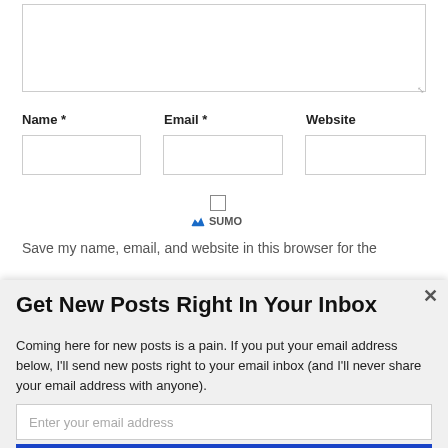[Figure (screenshot): Comment form with Name, Email, Website fields and a textarea, with a SUMO popup overlay for email subscription]
Get New Posts Right In Your Inbox
Coming here for new posts is a pain. If you put your email address below, I'll send new posts right to your email inbox (and I'll never share your email address with anyone).
Enter your email address
Get Email Updates